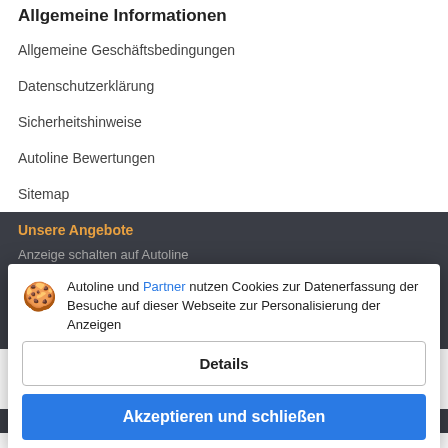Allgemeine Informationen
Allgemeine Geschäftsbedingungen
Datenschutzerklärung
Sicherheitshinweise
Autoline Bewertungen
Sitemap
Unsere Angebote
Anzeige schalten auf Autoline
Ihre Anzeigen
Planen Sie eine Banner-Erklärung
Impressum
Regeln
[Figure (screenshot): Cookie consent dialog overlay. Shows cookie icon, text 'Autoline und Partner nutzen Cookies zur Datenerfassung der Besuche auf dieser Webseite zur Personalisierung der Anzeigen', a 'Details' button, and an 'Akzeptieren und schließen' button in blue.]